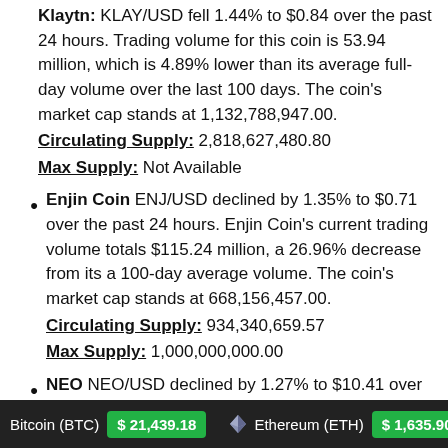Klaytn KLAY/USD fell 1.44% to $0.84 over the past 24 hours. Trading volume for this coin is 53.94 million, which is 4.89% lower than its average full-day volume over the last 100 days. The coin's market cap stands at 1,132,788,947.00.
Circulating Supply: 2,818,627,480.80
Max Supply: Not Available
Enjin Coin ENJ/USD declined by 1.35% to $0.71 over the past 24 hours. Enjin Coin's current trading volume totals $115.24 million, a 26.96% decrease from its a 100-day average volume. The coin's market cap stands at 668,156,457.00.
Circulating Supply: 934,340,659.57
Max Supply: 1,000,000,000.00
NEO NEO/USD declined by 1.27% to $10.41 over the past 24 hours. Trading volume for this coin is 73.07 million, which is 57.39% lower than its average full-
Bitcoin (BTC) $21,439.18   Ethereum (ETH) $1,635.90